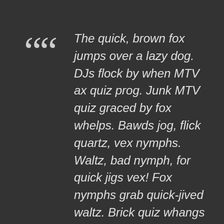““ The quick, brown fox jumps over a lazy dog. DJs flock by when MTV ax quiz prog. Junk MTV quiz graced by fox whelps. Bawds jog, flick quartz, vex nymphs. Waltz, bad nymph, for quick jigs vex! Fox nymphs grab quick-jived waltz. Brick quiz whangs jumpy veldt fox. Bright vixens jump; dozy fowl quack.